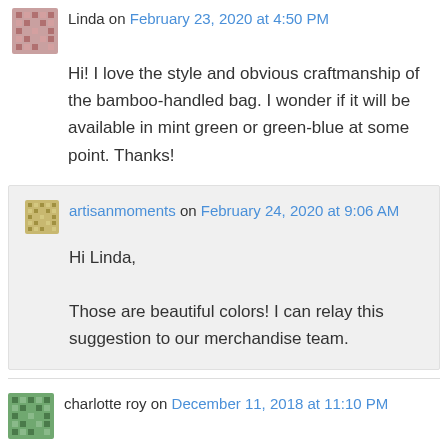Linda on February 23, 2020 at 4:50 PM
Hi! I love the style and obvious craftmanship of the bamboo-handled bag. I wonder if it will be available in mint green or green-blue at some point. Thanks!
artisanmoments on February 24, 2020 at 9:06 AM
Hi Linda,

Those are beautiful colors! I can relay this suggestion to our merchandise team.
charlotte roy on December 11, 2018 at 11:10 PM